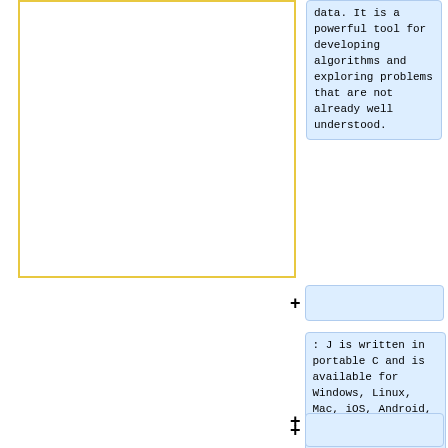[Figure (other): Empty yellow-bordered box on the left side of the page]
data. It is a powerful tool for developing algorithms and exploring problems that are not already well understood.
+ (collapsed section)
: J is written in portable C and is available for Windows, Linux, Mac, iOS, Android, and Raspberry Pi. J can be installed and distributed for free. The source is provided under both commercial and GPL 3 licenses.
+ (collapsed section)